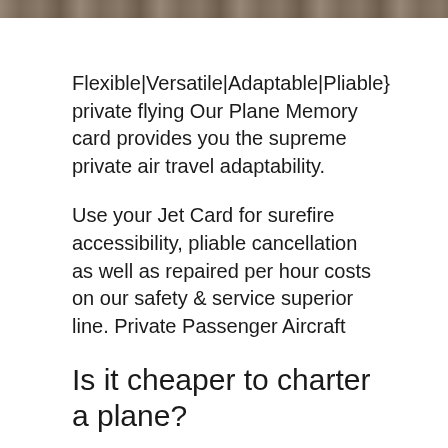[Figure (photo): Partial top strip of a photo showing people or an interior scene, cropped at the top of the page.]
Flexible|Versatile|Adaptable|Pliable} private flying Our Plane Memory card provides you the supreme private air travel adaptability.
Use your Jet Card for surefire accessibility, pliable cancellation as well as repaired per hour costs on our safety & service superior line. Private Passenger Aircraft
Is it cheaper to charter a plane?
As an Argus Certified Broker, our experts function to the highest industry criteria of safety and also ideal process.